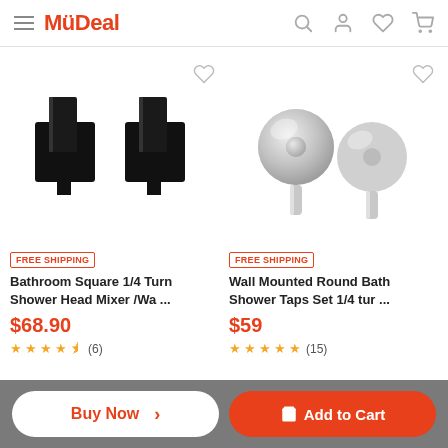MyDeal
[Figure (photo): Black square bathroom tap/mixer set — two square-shaped matte black wall-mounted tap handles shown from front]
[Figure (photo): Chrome round wall-mounted bath shower taps set — two round chrome cylindrical tap handles shown from front]
FREE SHIPPING
Bathroom Square 1/4 Turn Shower Head Mixer /Wa ...
$68.90
★★★★½ (6)
FREE SHIPPING
Wall Mounted Round Bath Shower Taps Set 1/4 tur ...
$59
★★★★★ (15)
Buy Now >
Add to Cart